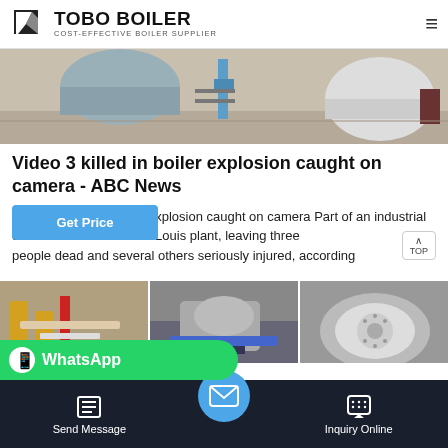TOBO BOILER — COST-EFFECTIVE BOILER SUPPLIER
[Figure (photo): Industrial boiler equipment in a factory setting, showing large cylindrical tanks and blue pipe connections on a concrete floor.]
Video 3 killed in boiler explosion caught on camera - ABC News
r explosion caught on camera Part of an industrial d into the air inside a St. Louis plant, leaving three people dead and several others seriously injured, according
[Figure (photo): Three thumbnail images of industrial boiler equipment and installation sites.]
WhatsApp
Send Message | Inquiry Online